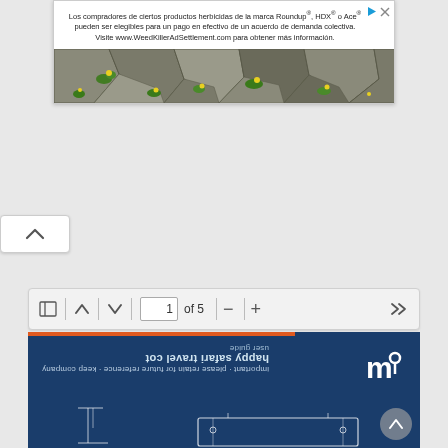[Figure (screenshot): Advertisement banner in Spanish for Roundup herbicide class action settlement. Text reads: 'Los compradores de ciertos productos herbicidas de la marca Roundup®, HDX® o Ace® pueden ser elegibles para un pago en efectivo de un acuerdo de demanda colectiva. Visite www.WeedKillerAdSettlement.com para obtener más información.' Below the text is an image of stone pavers with yellow wildflowers growing between them.]
[Figure (screenshot): A white collapse/up-arrow button (chevron-up icon) on the left side of the page.]
[Figure (screenshot): PDF viewer toolbar with navigation icons: sidebar toggle, up arrow, down arrow, page input showing '1 of 5', zoom out, zoom in, and fast-forward buttons.]
[Figure (screenshot): Bottom portion of a PDF document page showing a dark blue cover page with an orange progress bar at top, upside-down text reading 'happy safari travel cot user guide' and 'important - please retain for future reference - keep company', a white 'ma' logo on the right side, and a line drawing diagram of what appears to be a travel cot at the bottom.]